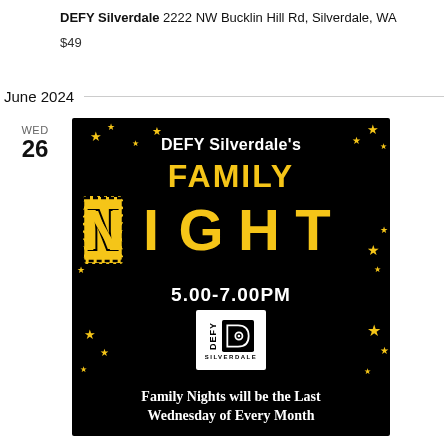DEFY Silverdale 2222 NW Bucklin Hill Rd, Silverdale, WA
$49
June 2024
WED 26
[Figure (illustration): DEFY Silverdale's Family Night promotional flyer with black background, gold stars, large gold text reading FAMILY NIGHT with dotted border effect, time 5.00-7.00PM, DEFY Silverdale logo, and text: Family Nights will be the Last Wednesday of Every Month]